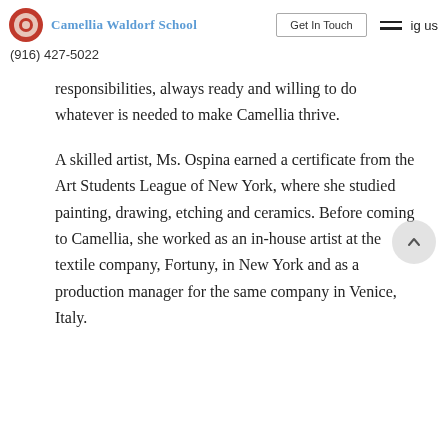Camellia Waldorf School | Get In Touch | (916) 427-5022
responsibilities, always ready and willing to do whatever is needed to make Camellia thrive.
A skilled artist, Ms. Ospina earned a certificate from the Art Students League of New York, where she studied painting, drawing, etching and ceramics. Before coming to Camellia, she worked as an in-house artist at the textile company, Fortuny, in New York and as a production manager for the same company in Venice, Italy.